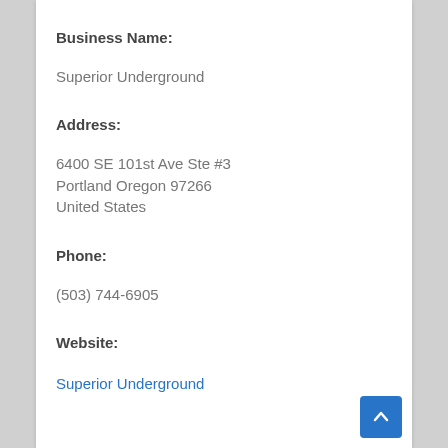Business Name:
Superior Underground
Address:
6400 SE 101st Ave Ste #3
Portland Oregon 97266
United States
Phone:
(503) 744-6905
Website:
Superior Underground